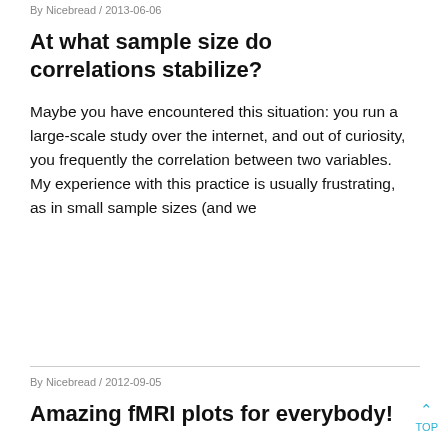By Nicebread / 2013-06-06
At what sample size do correlations stabilize?
Maybe you have encountered this situation: you run a large-scale study over the internet, and out of curiosity, you frequently the correlation between two variables. My experience with this practice is usually frustrating, as in small sample sizes (and we
Continue Reading ...
By Nicebread / 2012-09-05
Amazing fMRI plots for everybody!